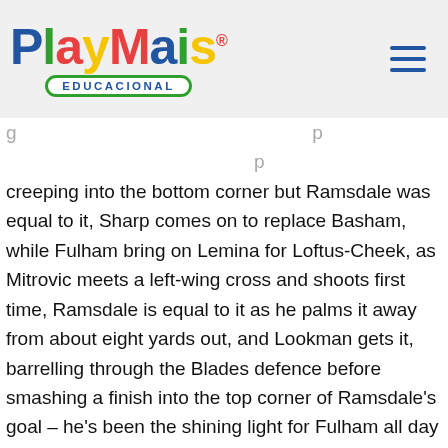[Figure (logo): PlayMais Educacional logo with colorful lettering and green oval badge]
g … p … p
creeping into the bottom corner but Ramsdale was equal to it, Sharp comes on to replace Basham, while Fulham bring on Lemina for Loftus-Cheek, as Mitrovic meets a left-wing cross and shoots first time, Ramsdale is equal to it as he palms it away from about eight yards out, and Lookman gets it, barrelling through the Blades defence before smashing a finish into the top corner of Ramsdale's goal – he's been the shining light for Fulham all day and he's given his side the lead, with about 13 minutes of normal time to go. It has to come within, from a belief in their own ability and in what we do and the system we play to.
We had some big chances to see it out at 2-0, but it wasn't meant to be. However, Basham spent the most of the season on the